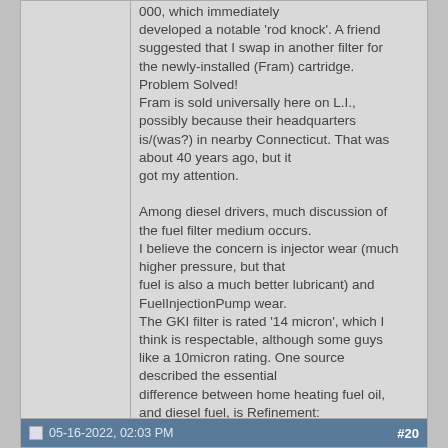000, which immediately developed a notable 'rod knock'. A friend suggested that I swap in another filter for the newly-installed (Fram) cartridge. Problem Solved!
Fram is sold universally here on L.I., possibly because their headquarters is/(was?) in nearby Connecticut. That was about 40 years ago, but it got my attention.

Among diesel drivers, much discussion of the fuel filter medium occurs.
I believe the concern is injector wear (much higher pressure, but that fuel is also a much better lubricant) and FuelInjectionPump wear.
The GKI filter is rated '14 micron', which I think is respectable, although some guys like a 10micron rating. One source described the essential difference between home heating fuel oil, and diesel fuel, is Refinement:
The diesel has mandated very Low sulfer, and very, very low particulates.
............................................
..........................................
05-16-2022, 02:03 PM    #20